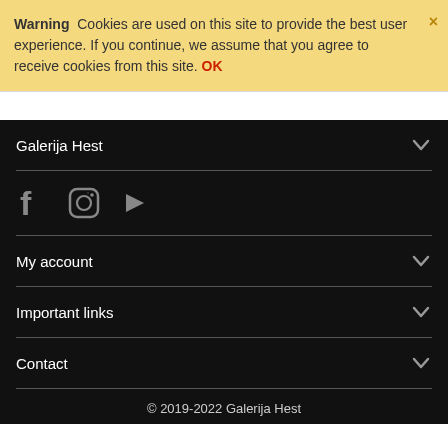Warning  Cookies are used on this site to provide the best user experience. If you continue, we assume that you agree to receive cookies from this site. OK
Galerija Hest
[Figure (other): Social media icons: Facebook, Instagram, YouTube]
My account
Important links
Contact
© 2019-2022 Galerija Hest